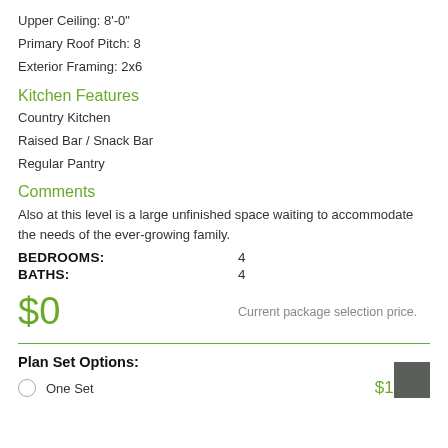Upper Ceiling: 8'-0"
Primary Roof Pitch: 8
Exterior Framing: 2x6
Kitchen Features
Country Kitchen
Raised Bar / Snack Bar
Regular Pantry
Comments
Also at this level is a large unfinished space waiting to accommodate the needs of the ever-growing family.
BEDROOMS: 4
BATHS: 4
$0  Current package selection price.
Plan Set Options:
One Set  $1225